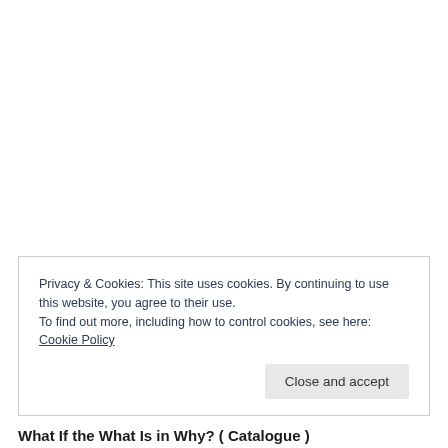Privacy & Cookies: This site uses cookies. By continuing to use this website, you agree to their use.
To find out more, including how to control cookies, see here: Cookie Policy
Close and accept
What If the What Is in Why? ( Catalogue )